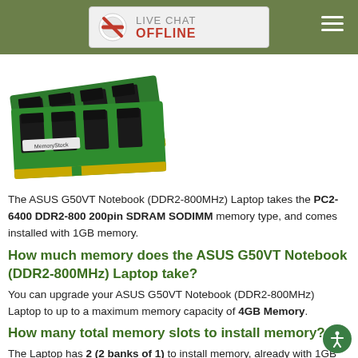LIVE CHAT OFFLINE
[Figure (photo): Two green DDR2 RAM SO-DIMM memory sticks branded MemoryStock, overlapping each other on a white background.]
The ASUS G50VT Notebook (DDR2-800MHz) Laptop takes the PC2-6400 DDR2-800 200pin SDRAM SODIMM memory type, and comes installed with 1GB memory.
How much memory does the ASUS G50VT Notebook (DDR2-800MHz) Laptop take?
You can upgrade your ASUS G50VT Notebook (DDR2-800MHz) Laptop to up to a maximum memory capacity of 4GB Memory.
How many total memory slots to install memory?
The Laptop has 2 (2 banks of 1) to install memory, already with 1GB